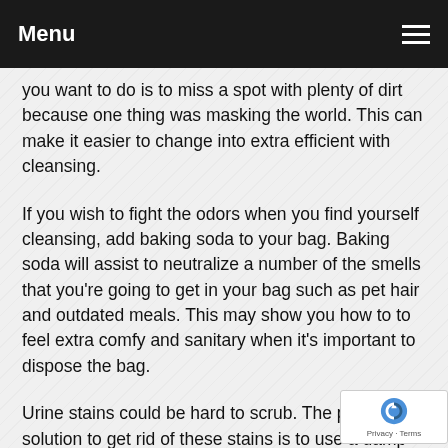Menu
you want to do is to miss a spot with plenty of dirt because one thing was masking the world. This can make it easier to change into extra efficient with cleansing.
If you wish to fight the odors when you find yourself cleansing, add baking soda to your bag. Baking soda will assist to neutralize a number of the smells that you're going to get in your bag such as pet hair and outdated meals. This may show you how to to feel extra comfy and sanitary when it's important to dispose the bag.
Urine stains could be hard to scrub. The perfect solution to get rid of these stains is to use a damp and lukewarm t on the stain to absorb the urine. Apply a urine cleanin detergent to the realm before rinsing with extra lukewarm